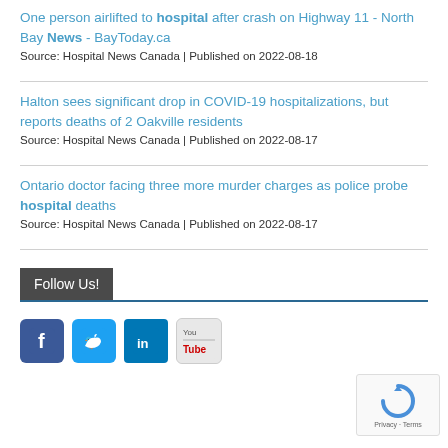One person airlifted to hospital after crash on Highway 11 - North Bay News - BayToday.ca
Source: Hospital News Canada | Published on 2022-08-18
Halton sees significant drop in COVID-19 hospitalizations, but reports deaths of 2 Oakville residents
Source: Hospital News Canada | Published on 2022-08-17
Ontario doctor facing three more murder charges as police probe hospital deaths
Source: Hospital News Canada | Published on 2022-08-17
Follow Us!
[Figure (infographic): Social media icons: Facebook, Twitter, LinkedIn, YouTube]